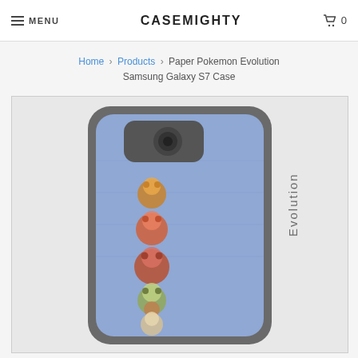MENU   CASEMIGHTY   0
Home > Products > Paper Pokemon Evolution Samsung Galaxy S7 Case
[Figure (photo): A Samsung Galaxy S7 phone case with a light blue/periwinkle background featuring Pokemon evolution characters stacked vertically and the word 'Evolution' written vertically in gray text on the right side.]